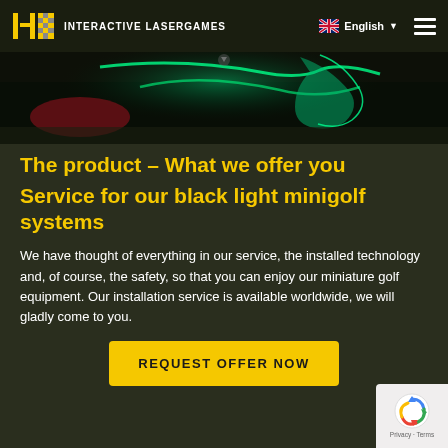INTERACTIVE LASERGAMES | English
[Figure (photo): Dark background image showing illuminated green and teal colored minigolf equipment or laser game elements against a dark background]
The product – What we offer you
Service for our black light minigolf systems
We have thought of everything in our service, the installed technology and, of course, the safety, so that you can enjoy our miniature golf equipment. Our installation service is available worldwide, we will gladly come to you.
REQUEST OFFER NOW